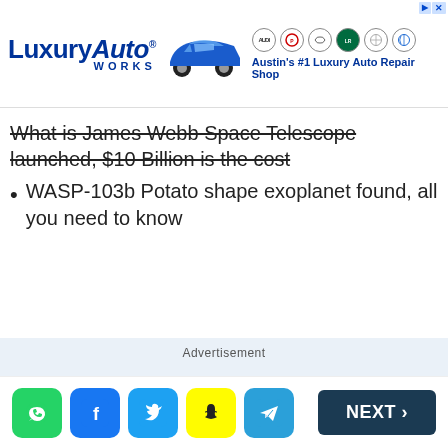[Figure (other): LuxuryAutoWorks advertisement banner with car image and brand logos. Text: Austin's #1 Luxury Auto Repair Shop]
What is James Webb Space Telescope launched, $10 Billion is the cost
WASP-103b Potato shape exoplanet found, all you need to know
Advertisement
[Figure (other): Social sharing icons: WhatsApp, Facebook, Twitter, Snapchat, Telegram]
NEXT >